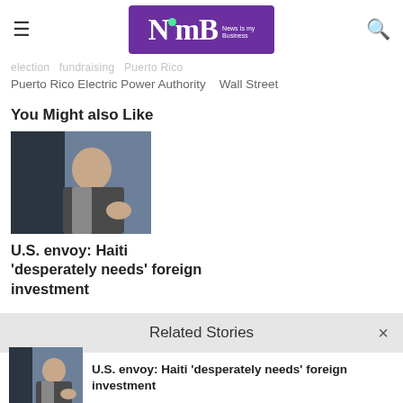NimB – News Is My Business
Election · Fundraising · Puerto Rico
Puerto Rico Electric Power Authority   Wall Street
You Might also Like
[Figure (photo): Man in suit gesturing with hands, speaking at event]
U.S. envoy: Haiti 'desperately needs' foreign investment
Related Stories
[Figure (photo): Man in suit gesturing with hands, speaking at event (thumbnail)]
U.S. envoy: Haiti 'desperately needs' foreign investment